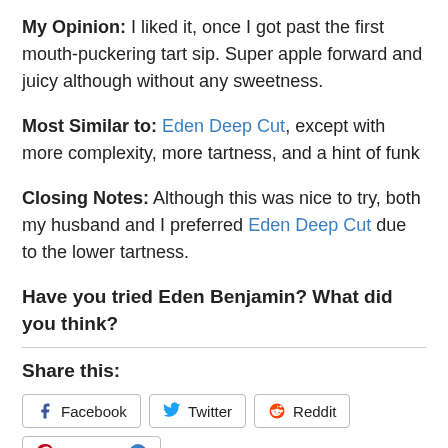My Opinion:  I liked it, once I got past the first mouth-puckering tart sip.  Super apple forward and juicy although without any sweetness.
Most Similar to:  Eden Deep Cut, except with more complexity, more tartness, and a hint of funk
Closing Notes:  Although this was nice to try, both my husband and I preferred Eden Deep Cut due to the lower tartness.
Have you tried Eden Benjamin?  What did you think?
Share this:
Facebook  Twitter  Reddit  Pinterest 4  Tumblr  LinkedIn  Pocket  Email